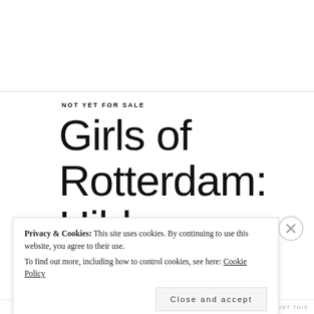NOT YET FOR SALE
Girls of Rotterdam: Hilda
10 JULY 2011 | BURENHAMUHUK | 110 FILM AGFA
Privacy & Cookies: This site uses cookies. By continuing to use this website, you agree to their use.
To find out more, including how to control cookies, see here: Cookie Policy
Close and accept